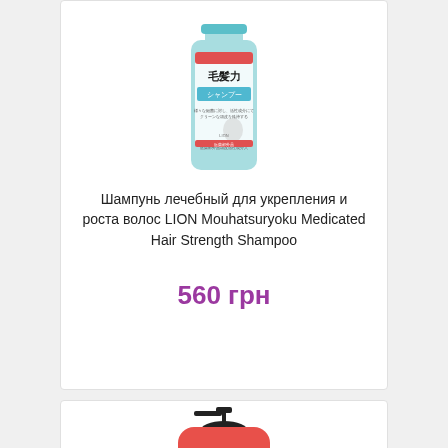[Figure (photo): Light blue LION Mouhatsuryoku medicated hair shampoo bottle with Japanese text]
Шампунь лечебный для укрепления и роста волос LION Mouhatsuryoku Medicated Hair Strength Shampoo
560 грн
[Figure (photo): Pink pump bottle of Japanese shampoo with Japanese characters and 'Shampoo' text]